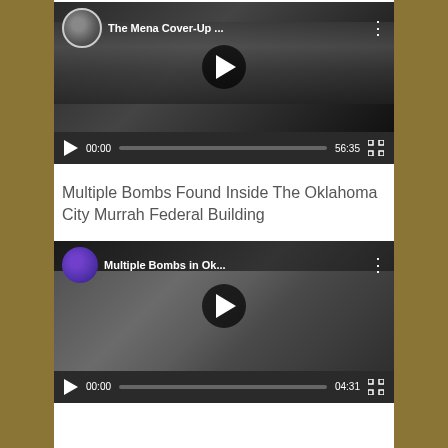[Figure (screenshot): YouTube video embed: 'The Mena Cover-Up ...' with duration 56:35, showing a man's face and video controls at 00:00]
Multiple Bombs Found Inside The Oklahoma City Murrah Federal Building
[Figure (screenshot): YouTube video embed: 'Multiple Bombs in Ok...' with duration 04:31, showing a news broadcast scene and video controls at 00:00]